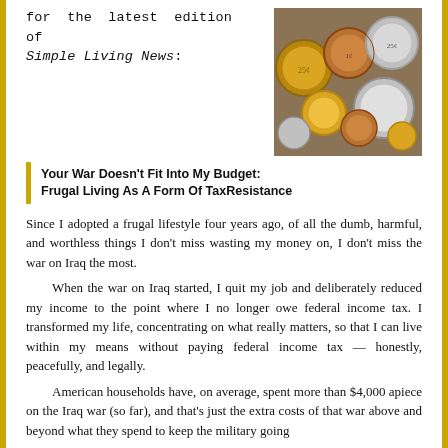for the latest edition of Simple Living News:
[Figure (photo): Photograph of various coins (quarters, pennies, dimes) piled together]
Your War Doesn't Fit Into My Budget:
Frugal Living As A Form Of TaxResistance
Since I adopted a frugal lifestyle four years ago, of all the dumb, harmful, and worthless things I don't miss wasting my money on, I don't miss the war on Iraq the most.
When the war on Iraq started, I quit my job and deliberately reduced my income to the point where I no longer owe federal income tax. I transformed my life, concentrating on what really matters, so that I can live within my means without paying federal income tax — honestly, peacefully, and legally.
American households have, on average, spent more than $4,000 apiece on the Iraq war (so far), and that's just the extra costs of that war above and beyond what they spend to keep the military going